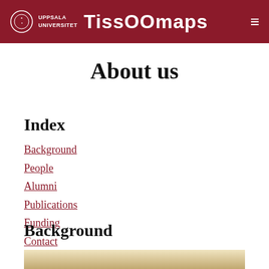TissOOmaps — Uppsala Universitet
About us
Index
Background
People
Alumni
Publications
Funding
Contact
Background
[Figure (photo): Interior ceiling of a room with lighting fixtures and a projector]